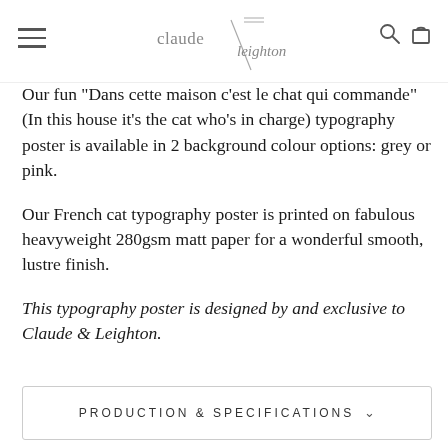claude & leighton (logo)
Our fun "Dans cette maison c'est le chat qui commande" (In this house it's the cat who's in charge) typography poster is available in 2 background colour options: grey or pink.
Our French cat typography poster is printed on fabulous heavyweight 280gsm matt paper for a wonderful smooth, lustre finish.
This typography poster is designed by and exclusive to Claude & Leighton.
PRODUCTION & SPECIFICATIONS